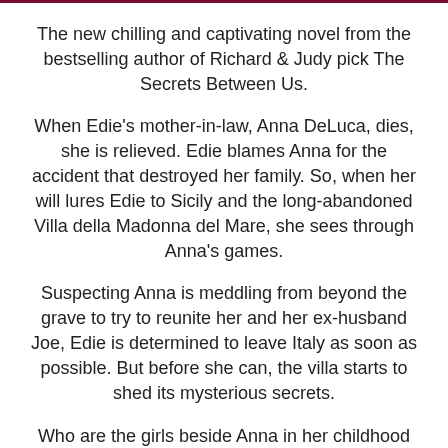The new chilling and captivating novel from the bestselling author of Richard & Judy pick The Secrets Between Us.
When Edie's mother-in-law, Anna DeLuca, dies, she is relieved. Edie blames Anna for the accident that destroyed her family. So, when her will lures Edie to Sicily and the long-abandoned Villa della Madonna del Mare, she sees through Anna's games.
Suspecting Anna is meddling from beyond the grave to try to reunite her and her ex-husband Joe, Edie is determined to leave Italy as soon as possible. But before she can, the villa starts to shed its mysterious secrets.
Who are the girls beside Anna in her childhood photos, and why has one of them been scratched out? Why does someone, or something, want them to leave the past untouched? The villa is a place where old ghosts feel at home, but does their legacy need to be laid to rest before